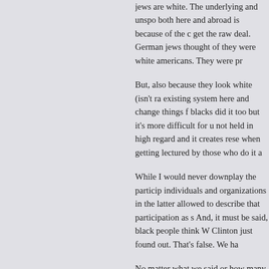jews are white. The underlying and unspo both here and abroad is because of the c get the raw deal. German jews thought of they were white americans. They were pr
But, also because they look white (isn't ra existing system here and change things f blacks did it too but it's more difficult for u not held in high regard and it creates rese when getting lectured by those who do it a
While I would never downplay the particip individuals and organizations in the latter allowed to describe that participation as s And, it must be said, black people think W Clinton just found out. That's false. We ha
No matter what we said or how many of u the sentiments expressed, nothing would gotten worse. Lots worse. We get credit f agreement but there was no guarantee th was almost always with qualifiers and now
However, just because the majority (and v blacks seemed to get on the band wagon indifference of those who did not. White